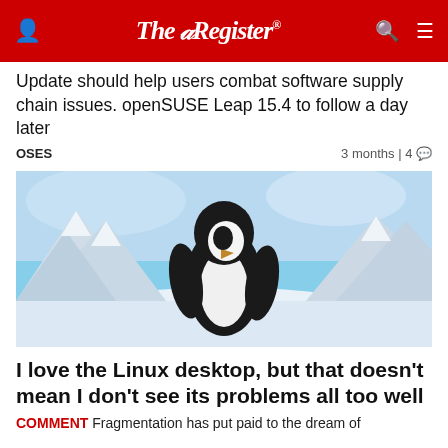The Register
Update should help users combat software supply chain issues. openSUSE Leap 15.4 to follow a day later
OSES    3 months | 4
[Figure (photo): Photograph of a penguin standing in a snowy Antarctic landscape with mountains and blue sky in the background]
I love the Linux desktop, but that doesn't mean I don't see its problems all too well
COMMENT Fragmentation has put paid to the dream of